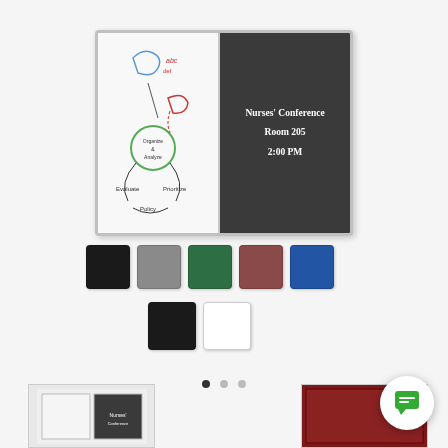[Figure (photo): Product image of a combination whiteboard and letter board enclosed in an aluminum frame. The left panel shows a whiteboard with a hand-drawn flowchart diagram. The right dark panel displays white text reading 'Nurses' Conference Room 205 2:00 PM'.]
[Figure (photo): Row of five color swatches: black, gray, green, mauve/burgundy, blue.]
[Figure (photo): Row of two color swatches: black and white.]
[Figure (other): Three pagination dots, first dot filled/active.]
[Figure (photo): Bottom left thumbnail showing the product from a different angle.]
[Figure (photo): Bottom right thumbnail showing a different product variant.]